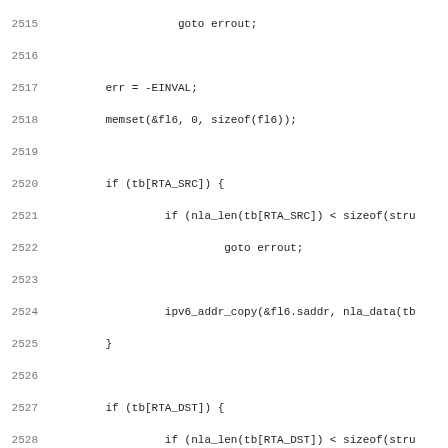Source code listing, lines 2515-2547, showing C kernel networking code with IPv6 routing table lookup logic including memset, if/goto constructs, ipv6_addr_copy, nla_get_u32, and dev_get_by_index calls.